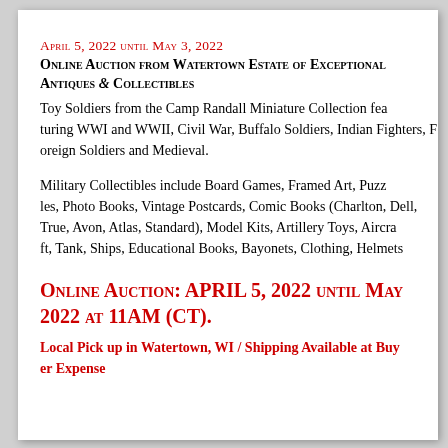APRIL 5, 2022 UNTIL MAY 3, 2022
Online Auction from Watertown Estate of Exceptional Antiques & Collectibles
Toy Soldiers from the Camp Randall Miniature Collection featuring WWI and WWII, Civil War, Buffalo Soldiers, Indian Fighters, Foreign Soldiers and Medieval.
Military Collectibles include Board Games, Framed Art, Puzzles, Photo Books, Vintage Postcards, Comic Books (Charlton, Dell, True, Avon, Atlas, Standard), Model Kits, Artillery Toys, Aircraft, Tank, Ships, Educational Books, Bayonets, Clothing, Helmets
Online Auction: APRIL 5, 2022 until May 3, 2022 at 11AM (CT).
Local Pick up in Watertown, WI / Shipping Available at Buyer Expense